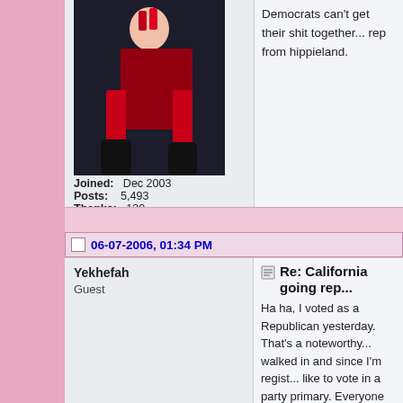Joined: Dec 2003
Posts: 5,493
Thanks: 120
Thanked 50 Times in 35 Posts
Democrats can't get their shit together... rep from hippieland.
06-07-2006, 01:34 PM
Yekhefah
Guest
Re: California going rep...
Ha ha, I voted as a Republican yesterday. That's a noteworthy... walked in and since I'm registered... like to vote in a party primary. Everyone in the room stopped... over at me. I guess a little blo... Hollywood doesn't fit the Repu... Republican (they are much to... give Schwarzenegger another... of Democrat booths and only o... Hollywood foun...